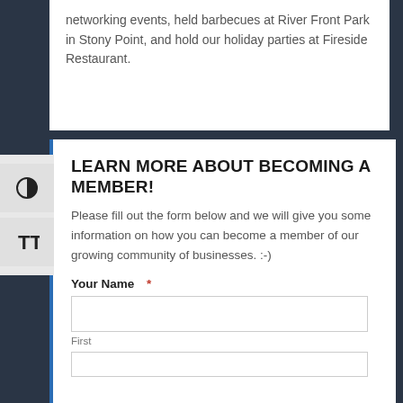networking events, held barbecues at River Front Park in Stony Point, and hold our holiday parties at Fireside Restaurant.
LEARN MORE ABOUT BECOMING A MEMBER!
Please fill out the form below and we will give you some information on how you can become a member of our growing community of businesses. :-)
Your Name *
First